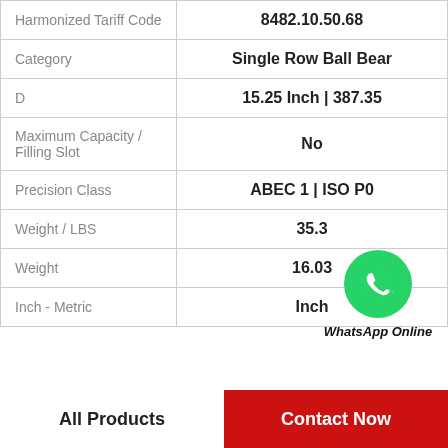| Property | Value |
| --- | --- |
| Harmonized Tariff Code | 8482.10.50.68 |
| Category | Single Row Ball Bear |
| D | 15.25 Inch | 387.35 |
| Maximum Capacity / Filling Slot | No |
| Precision Class | ABEC 1 | ISO P0 |
| Weight / LBS | 35.3 |
| Weight | 16.03 |
| Inch - Metric | Inch |
[Figure (logo): WhatsApp green circle icon with phone handset, with text 'WhatsApp Online' below]
All Products
Contact Now